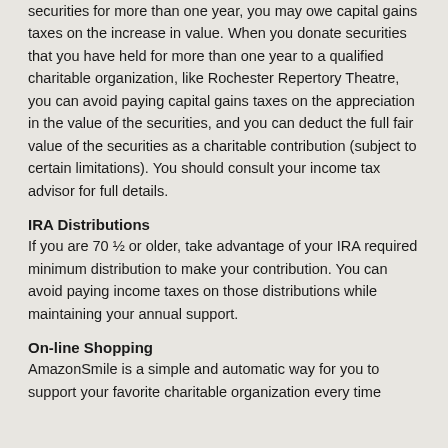securities for more than one year, you may owe capital gains taxes on the increase in value. When you donate securities that you have held for more than one year to a qualified charitable organization, like Rochester Repertory Theatre, you can avoid paying capital gains taxes on the appreciation in the value of the securities, and you can deduct the full fair value of the securities as a charitable contribution (subject to certain limitations). You should consult your income tax advisor for full details.
IRA Distributions
If you are 70 ½ or older, take advantage of your IRA required minimum distribution to make your contribution. You can avoid paying income taxes on those distributions while maintaining your annual support.
On-line Shopping
AmazonSmile is a simple and automatic way for you to support your favorite charitable organization every time